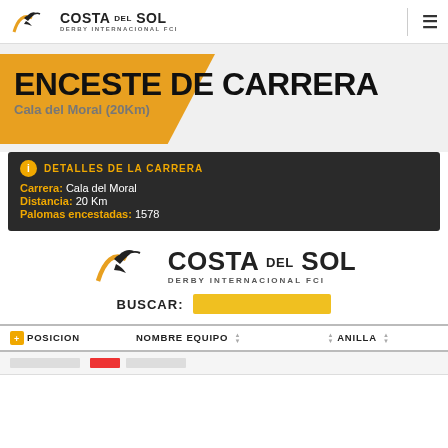[Figure (logo): Costa del Sol Derby Internacional FCI logo with bird/dove icon]
ENCESTE DE CARRERA
Cala del Moral (20Km)
DETALLES DE LA CARRERA
Carrera: Cala del Moral
Distancia: 20 Km
Palomas encestadas: 1578
[Figure (logo): Large Costa del Sol Derby Internacional FCI logo with search box labeled BUSCAR]
| POSICION | NOMBRE | EQUIPO | ANILLA |
| --- | --- | --- | --- |